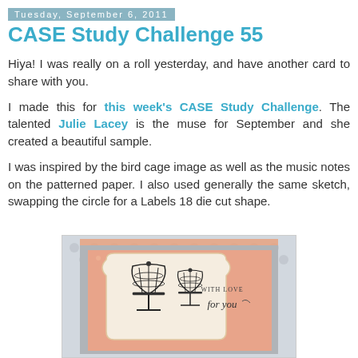Tuesday, September 6, 2011
CASE Study Challenge 55
Hiya! I was really on a roll yesterday, and have another card to share with you.
I made this for this week's CASE Study Challenge. The talented Julie Lacey is the muse for September and she created a beautiful sample.
I was inspired by the bird cage image as well as the music notes on the patterned paper. I also used generally the same sketch, swapping the circle for a Labels 18 die cut shape.
[Figure (photo): A handmade greeting card featuring two birdcage images stamped in black ink on a cream/peach labels-shaped die cut, layered over peach and gray polka dot patterned paper, with 'with love for you' text on the right side.]